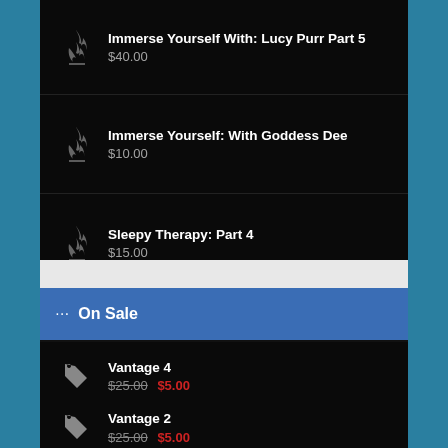Immerse Yourself With: Lucy Purr Part 5
$40.00
Immerse Yourself: With Goddess Dee
$10.00
Sleepy Therapy: Part 4
$15.00
··· On Sale
Vantage 4
$25.00 $5.00
Vantage 2
$25.00 $5.00